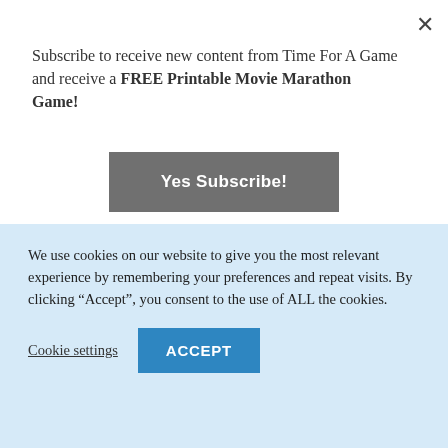Subscribe to receive new content from Time For A Game and receive a FREE Printable Movie Marathon Game!
Yes Subscribe!
Markers
To play first designate a caller for the bingo cards.  Next, cut out the bingo calling cards and put them into a bowl or bag.  This is where the bingo caller will draw from.
We use cookies on our website to give you the most relevant experience by remembering your preferences and repeat visits. By clicking “Accept”, you consent to the use of ALL the cookies.
Cookie settings
ACCEPT